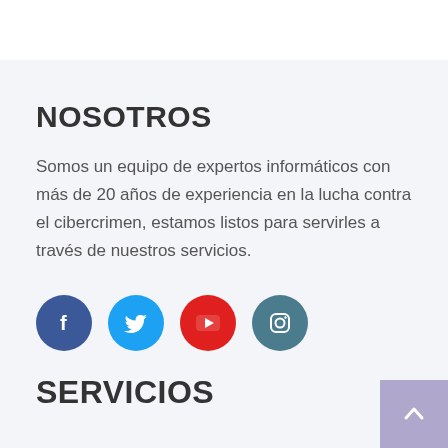NOSOTROS
Somos un equipo de expertos informáticos con más de 20 años de experiencia en la lucha contra el cibercrimen, estamos listos para servirles a través de nuestros servicios.
[Figure (illustration): Row of four circular social media icon buttons: Facebook (dark blue), Twitter (light blue), YouTube (red), Instagram (teal)]
SERVICIOS